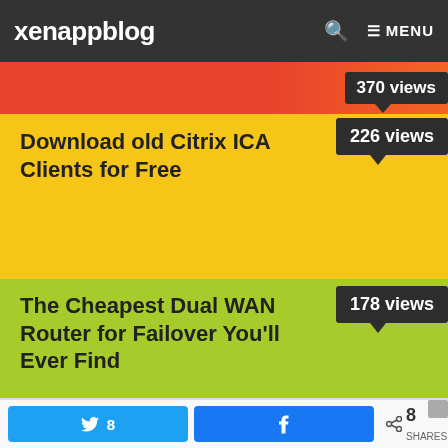xenappblog  MENU
370 views
Download old Citrix ICA Clients for Free
226 views
The Cheapest Dual WAN Router for Failover You'll Ever Find
178 views
Citrix XenServer – Make your network 10x faster
161 views
8  8 SHARES